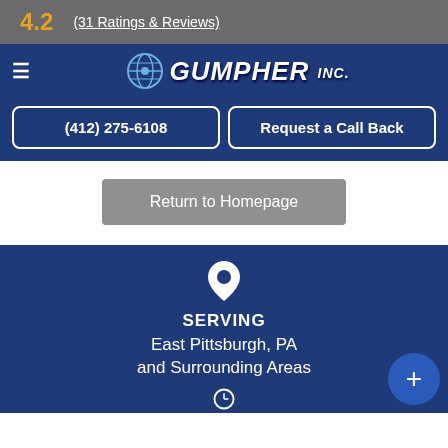4.2
(31 Ratings & Reviews)
[Figure (logo): Gumpher Inc. logo with stylized globe icon and bold italic white text]
(412) 275-6108
Request a Call Back
Return to Homepage
[Figure (other): White map pin / location icon]
SERVING
East Pittsburgh, PA
and Surrounding Areas
[Figure (other): Clock icon, partially visible at bottom]